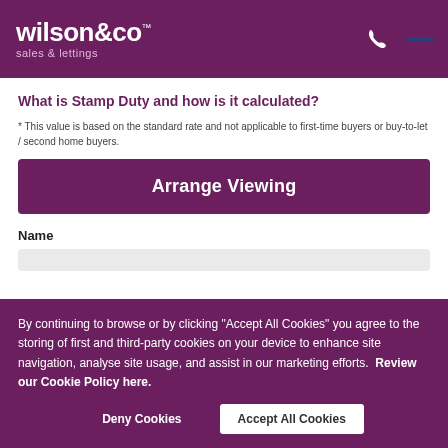wilson&co sales & lettings
What is Stamp Duty and how is it calculated?
* This value is based on the standard rate and not applicable to first-time buyers or buy-to-let / second home buyers.
Arrange Viewing
Name
By continuing to browse or by clicking "Accept All Cookies" you agree to the storing of first and third-party cookies on your device to enhance site navigation, analyse site usage, and assist in our marketing efforts. Review our Cookie Policy here.
Deny Cookies
Accept All Cookies